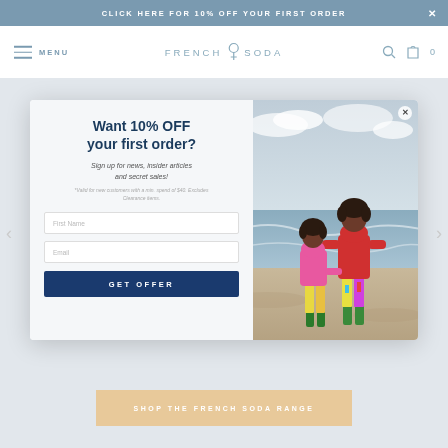CLICK HERE FOR 10% OFF YOUR FIRST ORDER  X
[Figure (screenshot): French Soda website navigation bar with hamburger menu, logo 'FRENCH SODA', search icon, cart icon with 0 count]
Want 10% OFF your first order?
Sign up for news, insider articles and secret sales!
*Valid for new customers with a min. spend of $40. Excludes Clearance items.
[Figure (photo): Photo of two children in colorful rain gear standing on a beach looking at the ocean. One child wears a pink jacket and green boots, the other wears a red jacket and colorful leggings with pink boots.]
SHOP THE FRENCH SODA RANGE